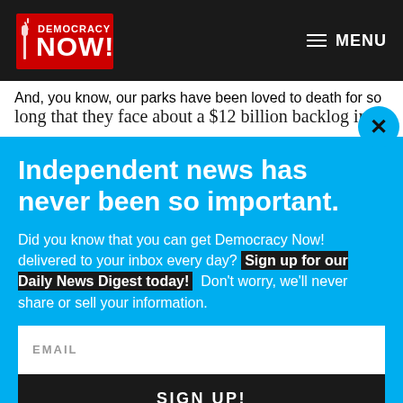[Figure (logo): Democracy Now! logo in red with Statue of Liberty graphic on dark background nav bar]
And, you know, our parks have been loved to death for so long that they face about a $12 billion backlog in
Independent news has never been so important.
Did you know that you can get Democracy Now! delivered to your inbox every day? Sign up for our Daily News Digest today! Don't worry, we'll never share or sell your information.
EMAIL
SIGN UP!